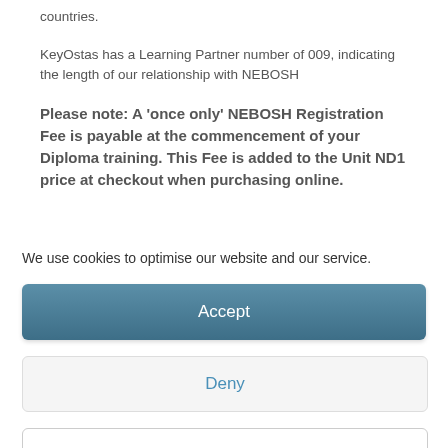countries.
KeyOstas has a Learning Partner number of 009, indicating the length of our relationship with NEBOSH
Please note: A 'once only' NEBOSH Registration Fee is payable at the commencement of your Diploma training. This Fee is added to the Unit ND1 price at checkout when purchasing online.
We use cookies to optimise our website and our service.
Accept
Deny
Preferences
Cookie Policy
Privacy Notice